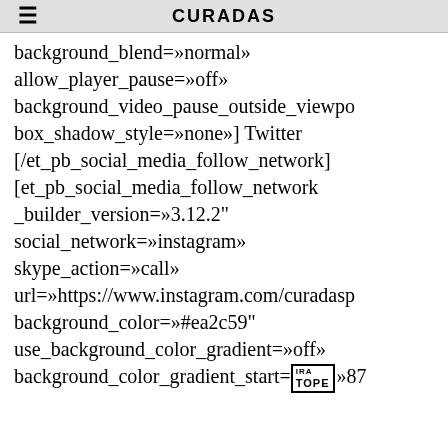≡  CURADAS
background_blend=»normal» allow_player_pause=»off» background_video_pause_outside_viewport box_shadow_style=»none»] Twitter [/et_pb_social_media_follow_network] [et_pb_social_media_follow_network _builder_version=»3.12.2" social_network=»instagram» skype_action=»call» url=»https://www.instagram.com/curadasp background_color=»#ea2c59" use_background_color_gradient=»off» background_color_gradient_start=»#87